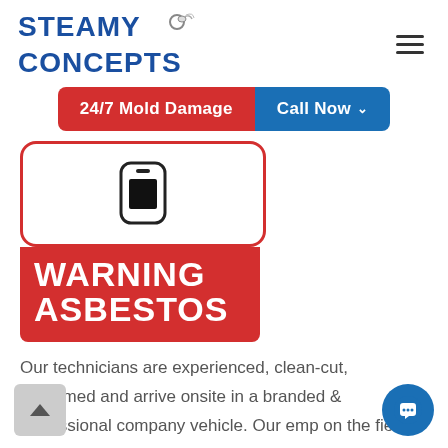[Figure (logo): Steamy Concepts logo with blue stylized text and an icon of a person with steam/cleaning equipment]
[Figure (other): Hamburger menu icon (three horizontal lines)]
[Figure (other): Red button '24/7 Mold Damage' and blue 'Call Now' button with chevron]
[Figure (illustration): Warning Asbestos sign: white rounded rectangle border with a black phone icon on top, red background section below with bold white text 'WARNING ASBESTOS']
Our technicians are experienced, clean-cut, uniformed and arrive onsite in a branded & professional company vehicle. Our emp on the field and in the office are trained to